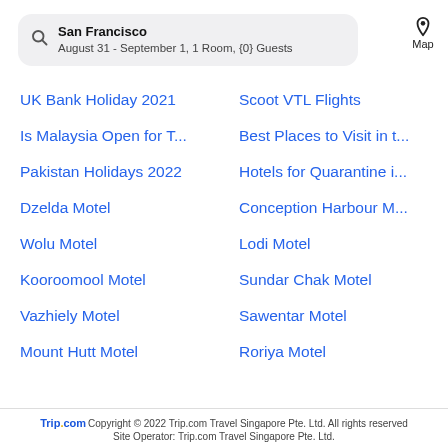San Francisco — August 31 - September 1, 1 Room, {0} Guests
UK Bank Holiday 2021
Scoot VTL Flights
Is Malaysia Open for T...
Best Places to Visit in t...
Pakistan Holidays 2022
Hotels for Quarantine i...
Dzelda Motel
Conception Harbour M...
Wolu Motel
Lodi Motel
Kooroomool Motel
Sundar Chak Motel
Vazhiely Motel
Sawentar Motel
Mount Hutt Motel
Roriya Motel
Trip.com Copyright © 2022 Trip.com Travel Singapore Pte. Ltd. All rights reserved
Site Operator: Trip.com Travel Singapore Pte. Ltd.